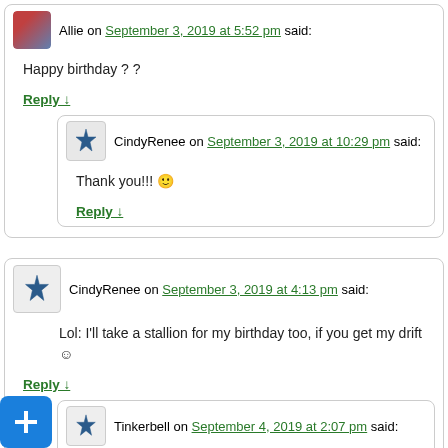Allie on September 3, 2019 at 5:52 pm said:
Happy birthday ? ?
Reply ↓
CindyRenee on September 3, 2019 at 10:29 pm said:
Thank you!!! 🙂
Reply ↓
CindyRenee on September 3, 2019 at 4:13 pm said:
Lol: I'll take a stallion for my birthday too, if you get my drift 😊
Reply ↓
Tinkerbell on September 4, 2019 at 2:07 pm said:
?
Reply ↓